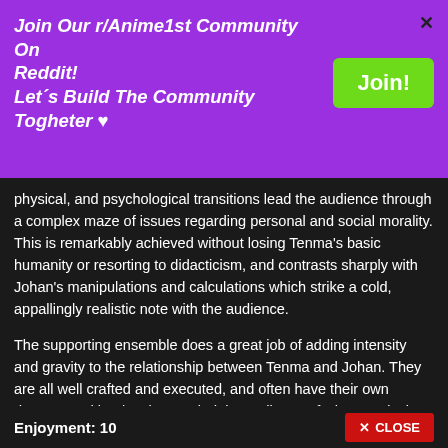Join Our r/Anime1st Community On Reddit!
Let´s Build The Community Togheter ♥
physical, and psychological transitions lead the audience through a complex maze of issues regarding personal and social morality. This is remarkably achieved without losing Tenma's basic humanity or resorting to didacticism, and contrasts sharply with Johan's manipulations and calculations which strike a cold, appallingly realistic note with the audience.
The supporting ensemble does a great job of adding intensity and gravity to the relationship between Tenma and Johan. They are all well crafted and executed, and often have their own demons and battles that remind the audience of what precisely lies in the balance between good and evil. Discovering why these people are the way they are and how they relate to each other is half the journey as a viewer.
Enjoyment: 10